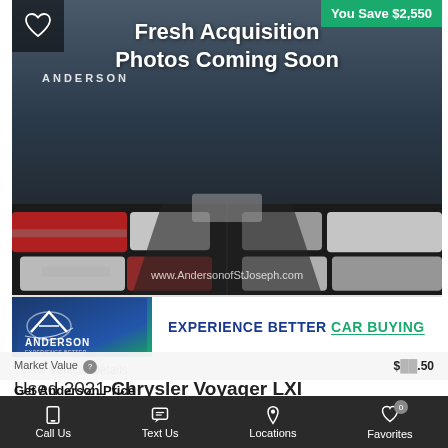[Figure (photo): Dealer lot photo with 'Fresh Acquisition Photos Coming Soon' overlay, cars parked in rows, Anderson dealership signage visible, website watermark www.AndersonofStJoseph.com]
You Save $2,550
[Figure (logo): Anderson dealership logo with blue and green gradient background, text ANDERSON EXPERIENCE BETTER CAR BUYING]
View Vehicle Details
Used 2021 Chrysler Voyager LXI
Stk# S6967P | FWD | Engine: 3.6 L | 52,781 miles
CURRENT OFFERS
Market Value
Get Anderson Price
Call Us   Text Us   Locations   Favorites 0